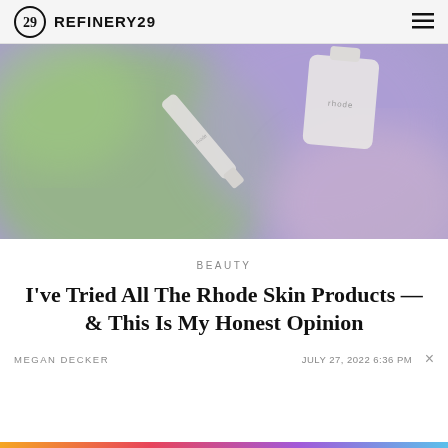REFINERY29
[Figure (photo): Purple and green blurred bokeh background with white Rhode skincare products — a tube and a bottle — floating against the colorful backdrop]
BEAUTY
I've Tried All The Rhode Skin Products — & This Is My Honest Opinion
MEGAN DECKER    JULY 27, 2022 6:36 PM